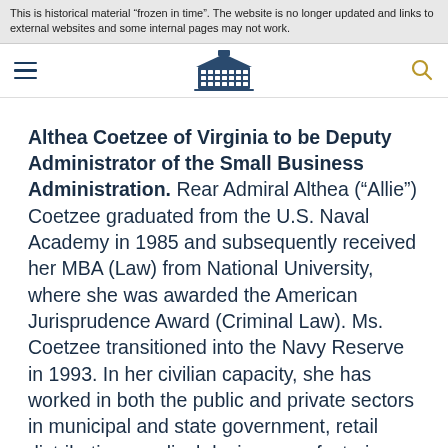This is historical material “frozen in time”. The website is no longer updated and links to external websites and some internal pages may not work.
[Figure (logo): White House website navigation bar with hamburger menu, White House building logo, and search icon]
Althea Coetzee of Virginia to be Deputy Administrator of the Small Business Administration.
Rear Admiral Althea (“Allie”) Coetzee graduated from the U.S. Naval Academy in 1985 and subsequently received her MBA (Law) from National University, where she was awarded the American Jurisprudence Award (Criminal Law). Ms. Coetzee transitioned into the Navy Reserve in 1993. In her civilian capacity, she has worked in both the public and private sectors in municipal and state government, retail distribution, medical device manufacturing, and the Department of Defense. Ms.